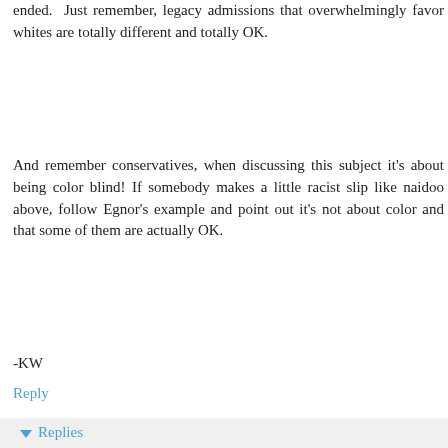ended. Just remember, legacy admissions that overwhelmingly favor whites are totally different and totally OK.
And remember conservatives, when discussing this subject it's about being color blind! If somebody makes a little racist slip like naidoo above, follow Egnor's example and point out it's not about color and that some of them are actually OK.
-KW
Reply
Replies
megnor May 9, 2014 at 9:28 AM
Affirmative action is illegal because the law forbids it. No debate.
I think it is immoral as well, but you can make a